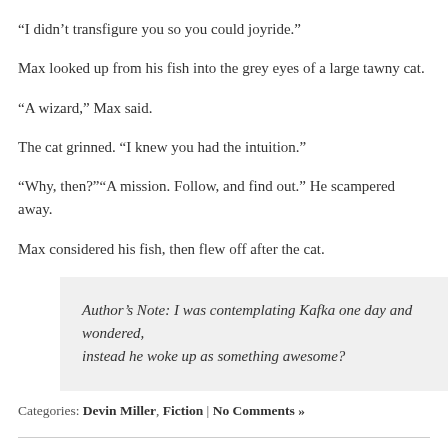“I didn’t transfigure you so you could joyride.”
Max looked up from his fish into the grey eyes of a large tawny cat.
“A wizard,” Max said.
The cat grinned. “I knew you had the intuition.”
“Why, then?”“A mission. Follow, and find out.” He scampered away.
Max considered his fish, then flew off after the cat.
Author’s Note: I was contemplating Kafka one day and wondered, instead he woke up as something awesome?
Categories: Devin Miller, Fiction | No Comments »
» Older Entries